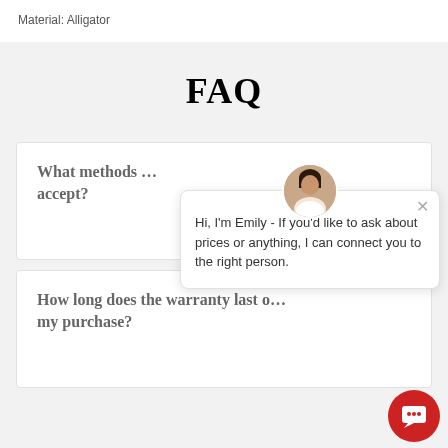Material: Alligator
FAQ
What methods ... accept?
[Figure (screenshot): Chat widget popup with avatar of a woman. Text reads: Hi, I'm Emily - If you'd like to ask about prices or anything, I can connect you to the right person.]
How long does the warranty last on my purchase?